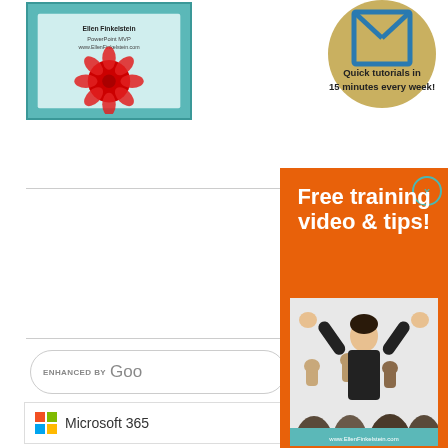[Figure (screenshot): Book/card with red flower and teal background, showing author name Ellen Finkelstein, PowerPoint MVP, www.EllenFinkelstein.com]
[Figure (logo): Circular logo with triangle icon and text 'Quick tutorials in 15 minutes every week!']
[Figure (screenshot): Search bar with text 'ENHANCED BY Google']
[Figure (logo): Microsoft 365 banner with colorful Windows logo squares]
[Figure (infographic): Orange popup overlay with white bold text 'Free training video & tips!' and photo of woman instructor with arms raised, audience with raised fists]